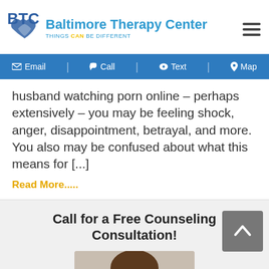[Figure (logo): Baltimore Therapy Center logo with hands and BTC letters, blue color scheme]
Email | Call | Text | Map
husband watching porn online – perhaps extensively – you may be feeling shock, anger, disappointment, betrayal, and more.  You also may be confused about what this means for [...]
Read More.....
Call for a Free Counseling Consultation!
[Figure (photo): Photo of a woman with curly hair looking up]